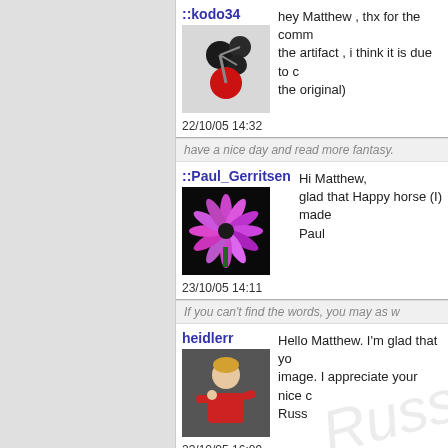[Figure (screenshot): Forum/comment page showing user comments with avatars and timestamps]
::kodo34
hey Matthew , thx for the comm the artifact , i think it is due to c the original)
22/10/05 14:32
have a nice day and read more fantasy.
::Paul_Gerritsen
Hi Matthew, glad that Happy horse (I) made Paul
23/10/05 14:11
If you can't find the words, you may as w
heidlerr
Hello Matthew. I'm glad that yo image. I appreciate your nice c Russ
23/10/05 16:09
No image should ever be given a zero. Y Russ
cbschoot
thanks for your inspiring words capturing valuable images!!! ve cemetery in Limburg, netherlan